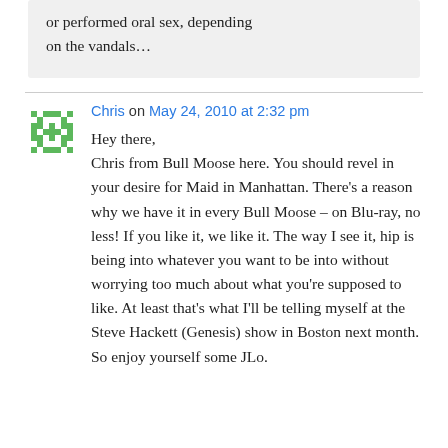or performed oral sex, depending on the vandals…
Chris on May 24, 2010 at 2:32 pm
Hey there,
Chris from Bull Moose here. You should revel in your desire for Maid in Manhattan. There's a reason why we have it in every Bull Moose – on Blu-ray, no less! If you like it, we like it. The way I see it, hip is being into whatever you want to be into without worrying too much about what you're supposed to like. At least that's what I'll be telling myself at the Steve Hackett (Genesis) show in Boston next month. So enjoy yourself some JLo.